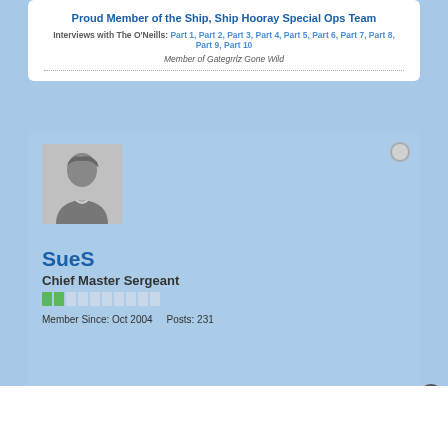Proud Member of the Ship, Ship Hooray Special Ops Team
Interviews with The O'Neills: Part 1, Part 2, Part 3, Part 4, Part 5, Part 6, Part 7, Part 8, Part 9, Part 10
Member of Gategrrlz Gone Wild
[Figure (photo): Default user avatar silhouette in grey]
SueS
Chief Master Sergeant
Member Since: Oct 2004   Posts: 231
25 June 2005, 07:45 AM
#1510